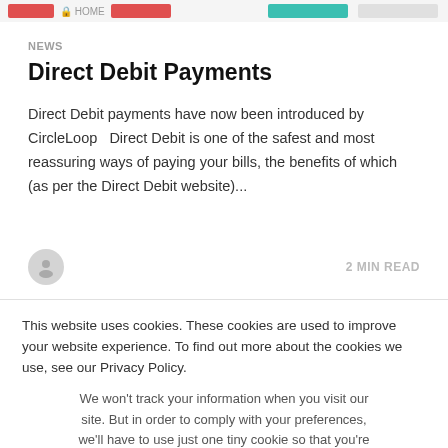[Figure (screenshot): Partial website header strip with colored UI elements]
NEWS
Direct Debit Payments
Direct Debit payments have now been introduced by CircleLoop   Direct Debit is one of the safest and most reassuring ways of paying your bills, the benefits of which (as per the Direct Debit website)...
2 MIN READ
This website uses cookies. These cookies are used to improve your website experience. To find out more about the cookies we use, see our Privacy Policy.
We won't track your information when you visit our site. But in order to comply with your preferences, we'll have to use just one tiny cookie so that you're not asked to make this choice again.